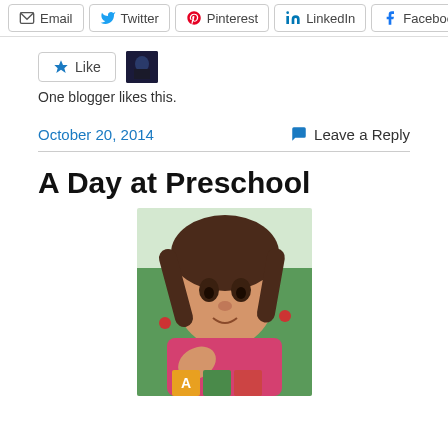Email | Twitter | Pinterest | LinkedIn | Facebook
Like | One blogger likes this.
October 20, 2014
Leave a Reply
A Day at Preschool
[Figure (photo): Young girl with pigtails smiling and playing with alphabet building blocks]